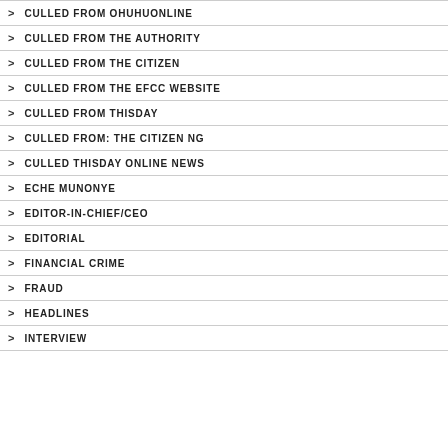CULLED FROM OHUHUONLINE
CULLED FROM THE AUTHORITY
CULLED FROM THE CITIZEN
CULLED FROM THE EFCC WEBSITE
CULLED FROM THISDAY
CULLED FROM: THE CITIZEN NG
CULLED THISDAY ONLINE NEWS
ECHE MUNONYE
EDITOR-IN-CHIEF/CEO
EDITORIAL
FINANCIAL CRIME
FRAUD
HEADLINES
INTERVIEW